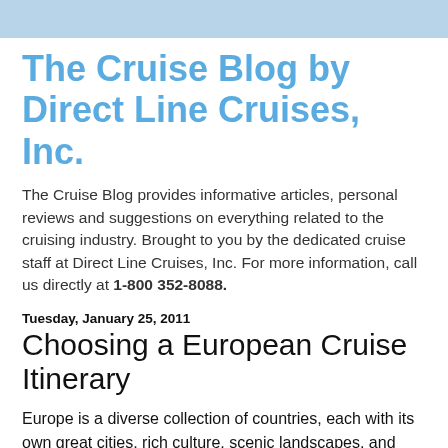The Cruise Blog by Direct Line Cruises, Inc.
The Cruise Blog provides informative articles, personal reviews and suggestions on everything related to the cruising industry. Brought to you by the dedicated cruise staff at Direct Line Cruises, Inc. For more information, call us directly at 1-800 352-8088.
Tuesday, January 25, 2011
Choosing a European Cruise Itinerary
Europe is a diverse collection of countries, each with its own great cities, rich culture, scenic landscapes, and fascinating history.  Cruising is one of the best ways to introduce yourself to the many wonders of the Old World, but with so many itineraries to choose from, how does one decide? With European cruises gaining in popularity, itineraries are always